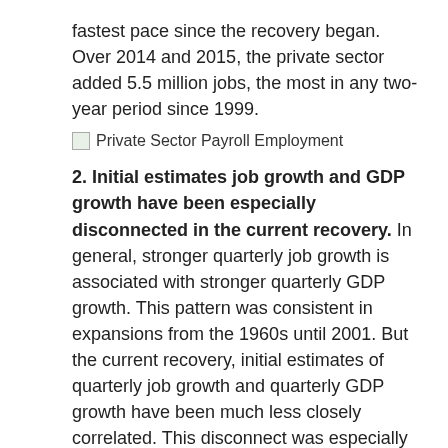fastest pace since the recovery began. Over 2014 and 2015, the private sector added 5.5 million jobs, the most in any two-year period since 1999.
Private Sector Payroll Employment
2. Initial estimates job growth and GDP growth have been especially disconnected in the current recovery. In general, stronger quarterly job growth is associated with stronger quarterly GDP growth. This pattern was consistent in expansions from the 1960s until 2001. But the current recovery, initial estimates of quarterly job growth and quarterly GDP growth have been much less closely correlated. This disconnect was especially clear in the fourth quarter of 2015, when GDP growth was 0.7 percent and employment growth was initially estimated to be 2.4 percent. While such discrepancies are in part due to fluctuating productivity growth, measurement error is likely